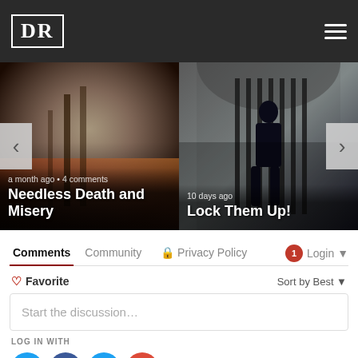DR
[Figure (screenshot): Website carousel showing two article cards: 'Needless Death and Misery' (a month ago, 4 comments) with dark fire/smoke background, and 'Lock Them Up!' (10 days ago) with dark prison gate background. Left and right navigation arrows visible.]
a month ago • 4 comments
Needless Death and Misery
10 days ago
Lock Them Up!
Comments  Community  🔒 Privacy Policy  Login
♡ Favorite
Sort by Best ▾
Start the discussion…
LOG IN WITH